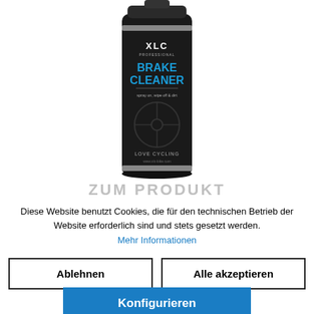[Figure (photo): XLC Brake Cleaner spray can with black label, blue text reading BRAKE CLEANER, and LOVE CYCLING branding at the bottom]
ZUM PRODUKT
Diese Website benutzt Cookies, die für den technischen Betrieb der Website erforderlich sind und stets gesetzt werden.
Mehr Informationen
Ablehnen
Alle akzeptieren
Konfigurieren